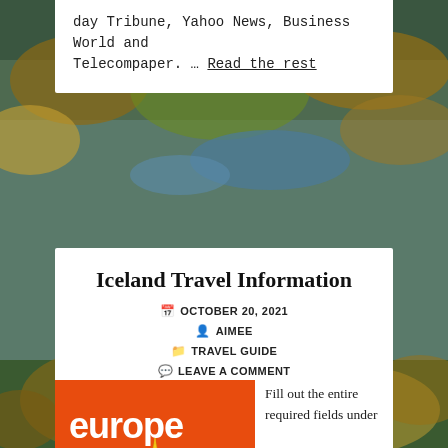day Tribune, Yahoo News, Business World and Telecompaper. … Read the rest
Iceland Travel Information
📅 OCTOBER 20, 2021
👤 AIMEE
📁 TRAVEL GUIDE
💬 LEAVE A COMMENT
[Figure (illustration): Europe Travel Guide book cover with orange and teal design]
Fill out the entire required fields under